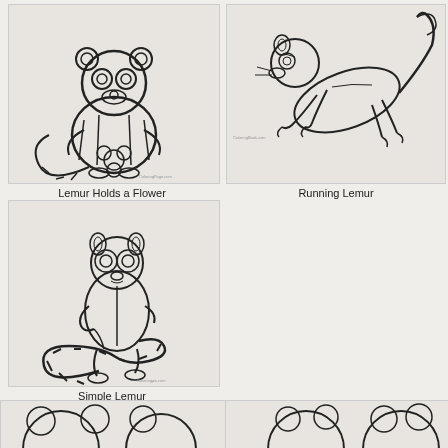[Figure (illustration): Cartoon lemur holding a flower, coloring page style with thick outlines on light gray background]
Lemur Holds a Flower
[Figure (illustration): Realistic-style lemur running/crouching, coloring page style with fine lines on light gray background]
Running Lemur
[Figure (illustration): Lemur sitting upright with ringed tail coiled on ground, coloring page style on light gray background]
Simple Lemur
[Figure (illustration): Partial view of two lemur coloring pages at bottom of image, cropped]